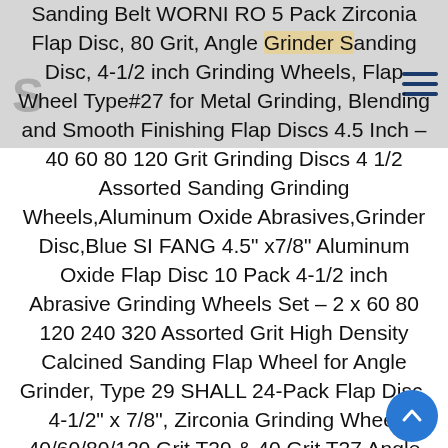Sanding Belt WORNI RO 5 Pack Zirconia Flap Disc, 80 Grit, Angle Grinder Sanding Disc, 4-1/2 inch Grinding Wheels, Flap Wheel Type#27 for Metal Grinding, Blending and Smooth Finishing Flap Discs 4.5 Inch – 40 60 80 120 Grit Grinding Discs 4 1/2 Assorted Sanding Grinding Wheels,Aluminum Oxide Abrasives,Grinder Disc,Blue SI FANG 4.5" x7/8" Aluminum Oxide Flap Disc 10 Pack 4-1/2 inch Abrasive Grinding Wheels Set – 2 x 60 80 120 240 320 Assorted Grit High Density Calcined Sanding Flap Wheel for Angle Grinder, Type 29 SHALL 24-Pack Flap Disc, 4-1/2" x 7/8", Zirconia Grinding Wheel 40/60/80/120 Grit T29 & 40 Grit T27 Angle Grinder Abrasive Sanding Disc with Etched Grit Number Indication, 80pcs Emery Cloth Per Disc Grinding Wheel for Grinders​Grinding Wheel for Metal ​Aggressive Grinding for Metal (25 Pack, 4.5 Inch​ 1/4" Thick, 7/9") DEWALT Grinding Wheel, General Purpose for Metal, 4-1/2-Inch x 1/4-Inch x 5/8-Inch (DW4523) Neiko 11257A High Density Jumbo Premium Zirconia Flap Disc | 4.5" x 7/8 Inch, 40 Grit, Bevel Type